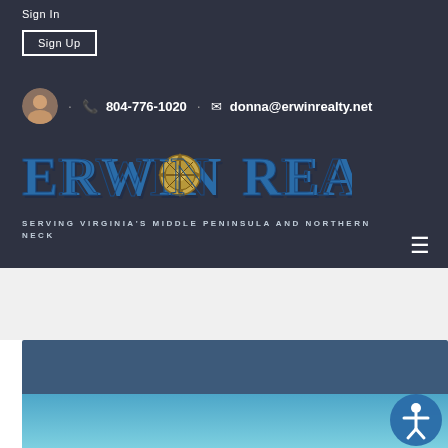Sign In
Sign Up
· 804-776-1020 · donna@erwinrealty.net
[Figure (logo): Erwin Realty logo with compass rose design in blue and gold lettering]
SERVING VIRGINIA'S MIDDLE PENINSULA AND NORTHERN NECK
[Figure (illustration): Blue gradient banner sections at bottom of page with accessibility icon button]